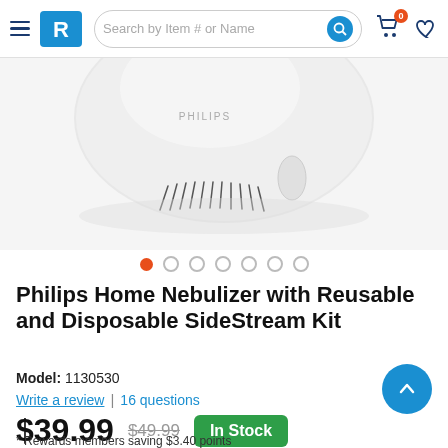Search by Item # or Name
[Figure (photo): White Philips home nebulizer device, top-down angled view showing vented base and Philips branding]
Philips Home Nebulizer with Reusable and Disposable SideStream Kit
Model: 1130530
Write a review | 16 questions
$39.99  $49.99  In Stock
* Rewards members saving $3.40 points